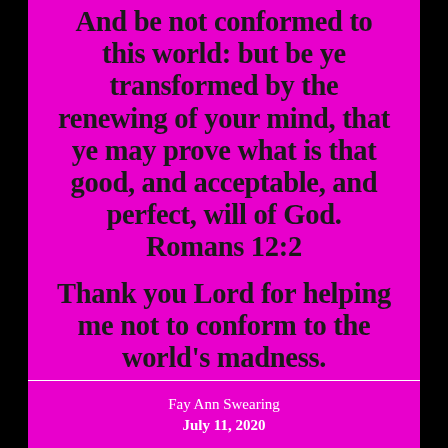And be not conformed to this world: but be ye transformed by the renewing of your mind, that ye may prove what is that good, and acceptable, and perfect, will of God. Romans 12:2
Thank you Lord for helping me not to conform to the world's madness.
Fay Ann Swearing
July 11, 2020